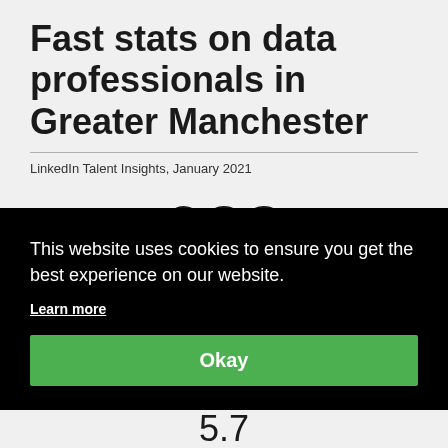Fast stats on data professionals in Greater Manchester
LinkedIn Talent Insights, January 2021
983
Data professionals in Greater Manchester
This website uses cookies to ensure you get the best experience on our website.
Learn more
Okay
5.7